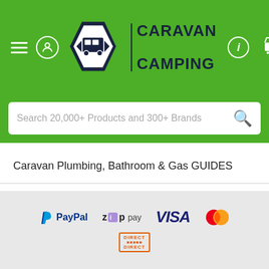[Figure (logo): Caravan RV Camping website header with green background, hamburger menu, user icon, diamond-shaped caravan logo with CARAVAN RV CAMPING text, info icon, and cart icon with badge showing 0]
[Figure (screenshot): Search bar with placeholder text 'Search 20,000+ Products and 300+ Brands' and magnifying glass icon]
Caravan Plumbing, Bathroom & Gas GUIDES
Caravan Accessory GUIDES
Camping Product GUIDES
General Caravan & Trip Advice
Travel Destination Articles
[Figure (logo): Payment method logos: PayPal, Zip Pay, VISA, Mastercard, and Direct logos in footer]